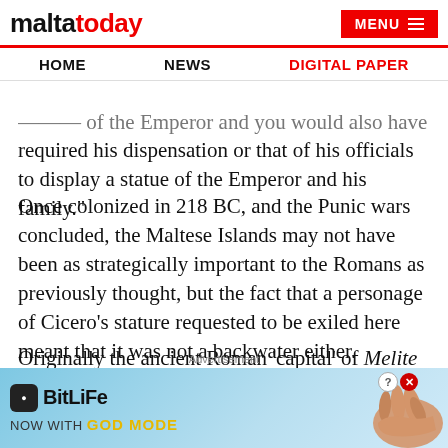maltatoday | HOME | NEWS | DIGITAL PAPER | MENU
…officers of the Emperor and you would also have required his dispensation or that of his officials to display a statue of the Emperor and his family."
Once colonized in 218 BC, and the Punic wars concluded, the Maltese Islands may not have been as strategically important to the Romans as previously thought, but the fact that a personage of Cicero's stature requested to be exiled here meant that it was not a backwater either.
Originally the ancient Roman 'capital' of Melite stretched from the acropolis and temple precinct of present-day Mdina to the civic area in Rabat…
[Figure (other): BitLife advertisement banner: BitLife logo with 'NOW WITH GOD MODE' text and pointing hand graphic on blue background]